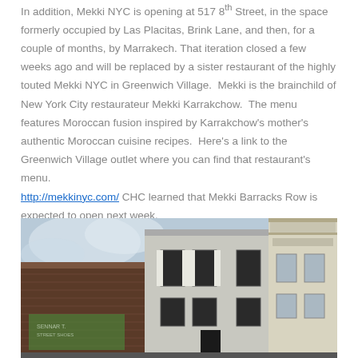In addition, Mekki NYC is opening at 517 8th Street, in the space formerly occupied by Las Placitas, Brink Lane, and then, for a couple of months, by Marrakech. That iteration closed a few weeks ago and will be replaced by a sister restaurant of the highly touted Mekki NYC in Greenwich Village.  Mekki is the brainchild of New York City restaurateur Mekki Karrakchow.  The menu features Moroccan fusion inspired by Karrakchow's mother's authentic Moroccan cuisine recipes.  Here's a link to the Greenwich Village outlet where you can find that restaurant's menu. http://mekkinyc.com/ CHC learned that Mekki Barracks Row is expected to open next week.
[Figure (photo): Street-level photo of old brick and painted commercial buildings on Barracks Row, taken from a low angle looking up. Multiple storefronts visible including one with a faded painted sign. Sky with clouds visible in the upper left.]